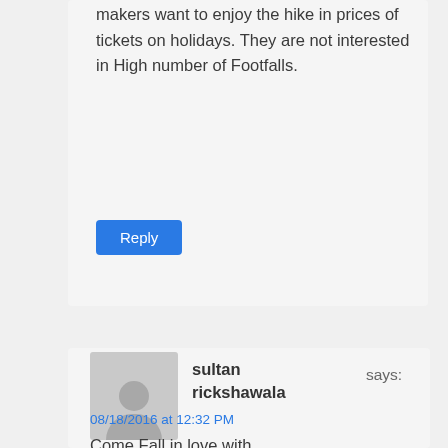makers want to enjoy the hike in prices of tickets on holidays. They are not interested in High number of Footfalls.
Reply
sultan rickshawala says:
08/18/2016 at 12:32 PM
Come Fall in love with RAEES